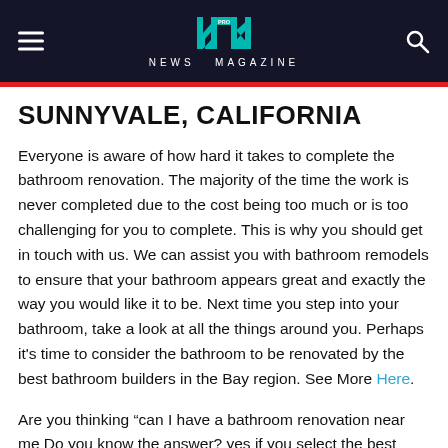NEWS MAGAZINE
SUNNYVALE, CALIFORNIA
Everyone is aware of how hard it takes to complete the bathroom renovation. The majority of the time the work is never completed due to the cost being too much or is too challenging for you to complete. This is why you should get in touch with us. We can assist you with bathroom remodels to ensure that your bathroom appears great and exactly the way you would like it to be. Next time you step into your bathroom, take a look at all the things around you. Perhaps it's time to consider the bathroom to be renovated by the best bathroom builders in the Bay region. See More Here.
Are you thinking “can I have a bathroom renovation near me Do you know the answer? yes if you select the best bathroom remodeling contractor. It's crucial to be aware of the specifics of what you'll need to know. It doesn't matter if you decide to create